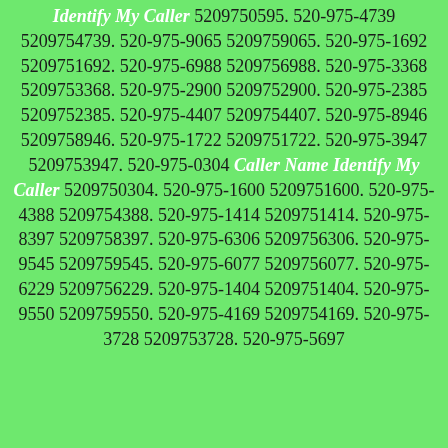Identify My Caller 5209750595. 520-975-4739 5209754739. 520-975-9065 5209759065. 520-975-1692 5209751692. 520-975-6988 5209756988. 520-975-3368 5209753368. 520-975-2900 5209752900. 520-975-2385 5209752385. 520-975-4407 5209754407. 520-975-8946 5209758946. 520-975-1722 5209751722. 520-975-3947 5209753947. 520-975-0304 Caller Name Identify My Caller 5209750304. 520-975-1600 5209751600. 520-975-4388 5209754388. 520-975-1414 5209751414. 520-975-8397 5209758397. 520-975-6306 5209756306. 520-975-9545 5209759545. 520-975-6077 5209756077. 520-975-6229 5209756229. 520-975-1404 5209751404. 520-975-9550 5209759550. 520-975-4169 5209754169. 520-975-3728 5209753728. 520-975-5697